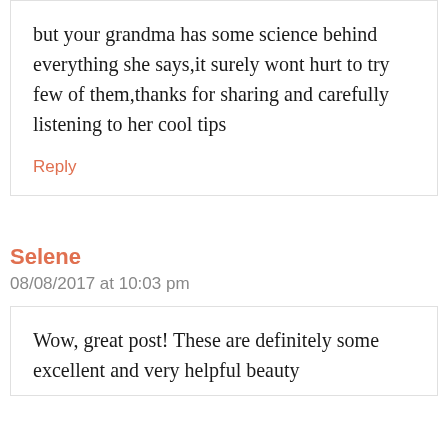but your grandma has some science behind everything she says,it surely wont hurt to try few of them,thanks for sharing and carefully listening to her cool tips
Reply
Selene
08/08/2017 at 10:03 pm
Wow, great post! These are definitely some excellent and very helpful beauty